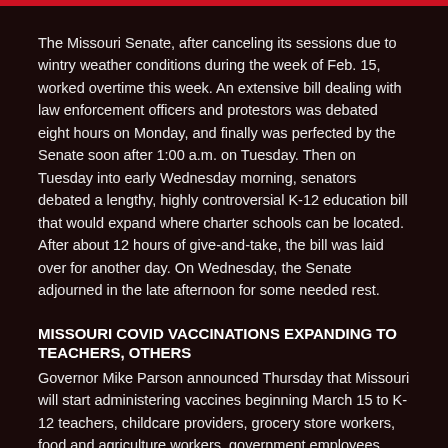The Missouri Senate, after canceling its sessions due to wintry weather conditions during the week of Feb. 15, worked overtime this week. An extensive bill dealing with law enforcement officers and protestors was debated eight hours on Monday, and finally was perfected by the Senate soon after 1:00 a.m. on Tuesday. Then on Tuesday into early Wednesday morning, senators debated a lengthy, highly controversial K-12 education bill that would expand where charter schools can be located. After about 12 hours of give-and-take, the bill was laid over for another day. On Wednesday, the Senate adjourned in the late afternoon for some needed rest.
MISSOURI COVID VACCINATIONS EXPANDING TO TEACHERS, OTHERS
Governor Mike Parson announced Thursday that Missouri will start administering vaccines beginning March 15 to K-12 teachers, childcare providers, grocery store workers, food and agriculture workers, government employees, and other critical infrastructure employees. DESE reports that about 95 percent of Missouri public schools are open to students in some form. Last week, many teachers had sent letters to the State Health Director asking to be moved up on the list of vaccine recipients.